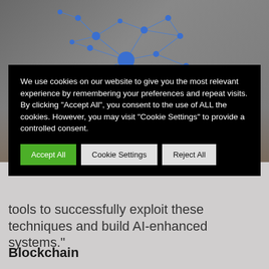[Figure (illustration): Background photo showing hands holding a tablet/device with a blue network graph overlay (nodes and edges forming a connected network diagram). The image has a dark grey/muted tone.]
We use cookies on our website to give you the most relevant experience by remembering your preferences and repeat visits. By clicking "Accept All", you consent to the use of ALL the cookies. However, you may visit "Cookie Settings" to provide a controlled consent.
tools to successfully exploit these techniques and build AI-enhanced systems."
Blockchain